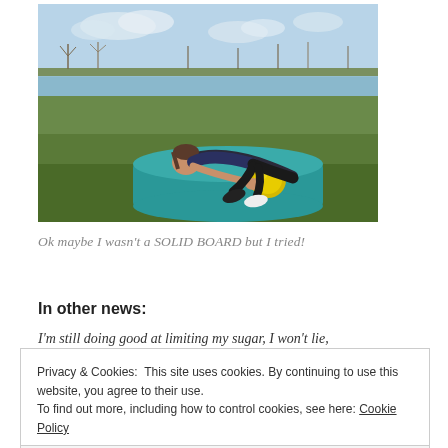[Figure (photo): Person doing a plank exercise on a teal yoga mat outdoors, near a lake, with grass and bare trees in the background. Using a yellow medicine ball for support.]
Ok maybe I wasn't a SOLID BOARD but I tried!
In other news:
I'm still doing good at limiting my sugar, I won't lie,
Privacy & Cookies: This site uses cookies. By continuing to use this website, you agree to their use.
To find out more, including how to control cookies, see here: Cookie Policy
Close and accept
chocolate I have no apparent issues, mostly because